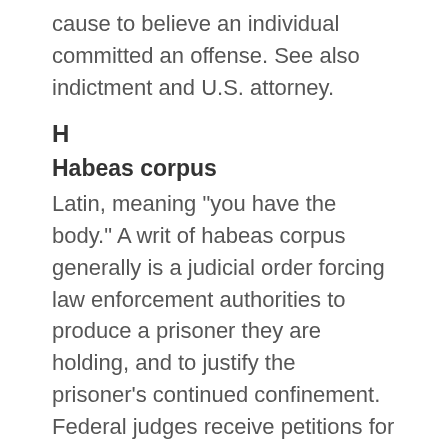cause to believe an individual committed an offense. See also indictment and U.S. attorney.
H
Habeas corpus
Latin, meaning "you have the body." A writ of habeas corpus generally is a judicial order forcing law enforcement authorities to produce a prisoner they are holding, and to justify the prisoner's continued confinement. Federal judges receive petitions for a writ of habeas corpus from state prison inmates who say their state prosecutions violated federally protected rights in some way.